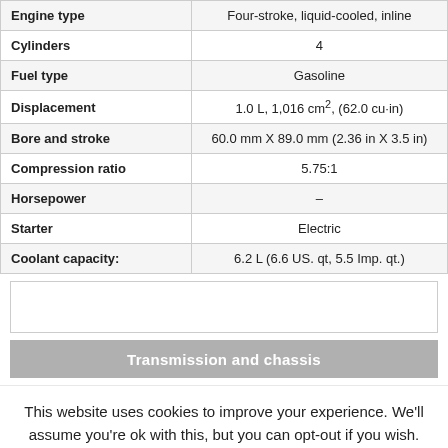| Specification | Value |
| --- | --- |
| Engine type | Four-stroke, liquid-cooled, inline |
| Cylinders | 4 |
| Fuel type | Gasoline |
| Displacement | 1.0 L, 1,016 cm², (62.0 cu·in) |
| Bore and stroke | 60.0 mm X 89.0 mm (2.36 in X 3.5 in) |
| Compression ratio | 5.75:1 |
| Horsepower | – |
| Starter | Electric |
| Coolant capacity: | 6.2 L (6.6 US. qt, 5.5 Imp. qt.) |
Transmission and chassis
This website uses cookies to improve your experience. We'll assume you're ok with this, but you can opt-out if you wish.